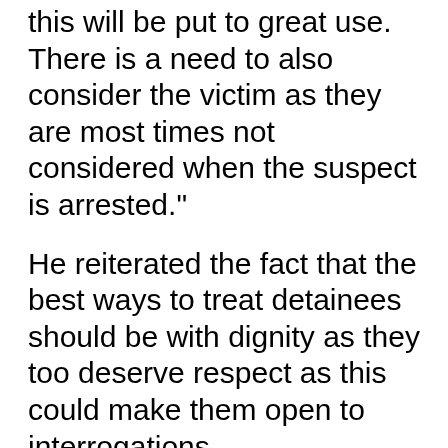this will be put to great use. There is a need to also consider the victim as they are most times not considered when the suspect is arrested."
He reiterated the fact that the best ways to treat detainees should be with dignity as they too deserve respect as this could make them open to interrogations.
In the same vein, Harrison Oruruo DPO Wuye district disclosed that the staff under his command have familiarised themselves with the act for the implementation of custody...